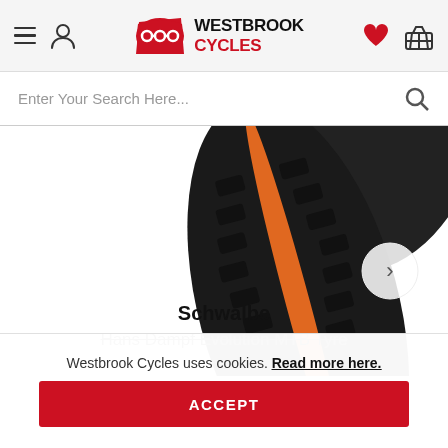Westbrook Cycles navigation header with logo, hamburger menu, user icon, heart icon, basket icon
Enter Your Search Here...
[Figure (photo): Close-up photo of a Schwalbe Hans Dampf Evolution MTB tyre showing the tread pattern with orange Trailstar compound markings on a black tyre]
Schwalbe
Hans Dampf Evolution MTB Tyre
Westbrook Cycles uses cookies. Read more here.
ACCEPT